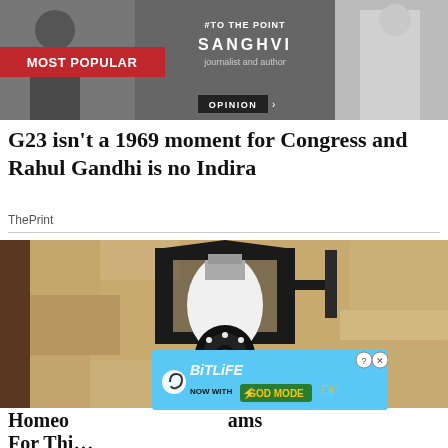[Figure (screenshot): Banner with 'MOST POPULAR' red label on left, '#TO THE POINT SANGHVI journalist and author' text in center, 'OPINION' label at bottom, figures on left and right sides]
G23 isn't a 1969 moment for Congress and Rahul Gandhi is no Indira
ThePrint
[Figure (photo): A security camera shaped like a light bulb mounted in a black wall lantern fixture on a stone/textured wall. Advertisement watermark visible at bottom center.]
[Figure (screenshot): BitLife advertisement banner: 'NOW WITH GOD MODE' on blue background with spiral logo, close and help buttons, hand pointer icon on right]
Homeowners Are Trading In Their Doorbell Cams For Thi...